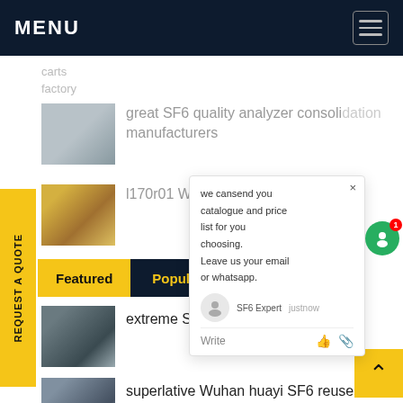MENU
carts
factory
great SF6 quality analyzer consolidation manufacturers
l170r01 Wuhan huayi SF6
Featured	Popular
extreme SF6 meter products cost
superlative Wuhan huayi SF6 reuse
[Figure (screenshot): Chat popup widget with message: we cansend you catalogue and price list for you choosing. Leave us your email or whatsapp. Agent: SF6 Expert, just now. Write input row with thumbs up and attachment icons.]
REQUEST A QUOTE